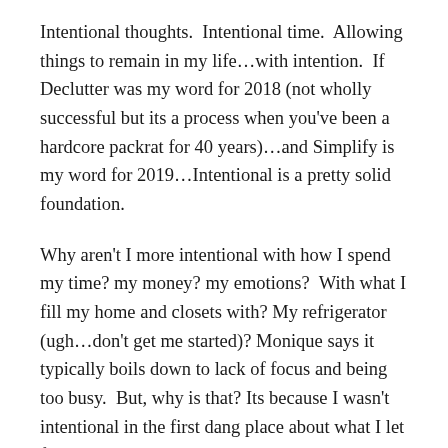Intentional thoughts.  Intentional time.  Allowing things to remain in my life…with intention.  If Declutter was my word for 2018 (not wholly successful but its a process when you've been a hardcore packrat for 40 years)…and Simplify is my word for 2019…Intentional is a pretty solid foundation.
Why aren't I more intentional with how I spend my time? my money? my emotions?  With what I fill my home and closets with? My refrigerator (ugh…don't get me started)? Monique says it typically boils down to lack of focus and being too busy.  But, why is that? Its because I wasn't intentional in the first dang place about what I let fill my calendar and mind.  I get overwhelmed and then I let other people and things dictate my priorities.  You may have noticed I'm fond of sayings